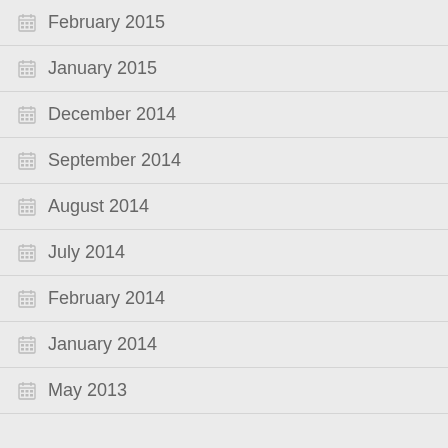February 2015
January 2015
December 2014
September 2014
August 2014
July 2014
February 2014
January 2014
May 2013